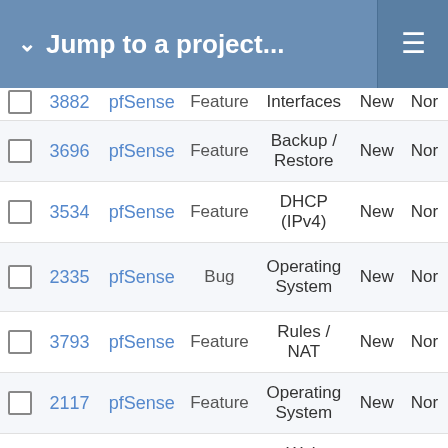Jump to a project...
|  | # | Project | Tracker | Category | Status | Priority |
| --- | --- | --- | --- | --- | --- | --- |
|  | 3882 | pfSense | Feature | Interfaces | New | Nor… |
|  | 3696 | pfSense | Feature | Backup / Restore | New | Nor… |
|  | 3534 | pfSense | Feature | DHCP (IPv4) | New | Nor… |
|  | 2335 | pfSense | Bug | Operating System | New | Nor… |
|  | 3793 | pfSense | Feature | Rules / NAT | New | Nor… |
|  | 2117 | pfSense | Feature | Operating System | New | Nor… |
|  | 3899 | pfSense | Feature | Web Interface | New | Nor… |
|  | 3942 | pfSense | Feature | Operating… | New | Lo… |